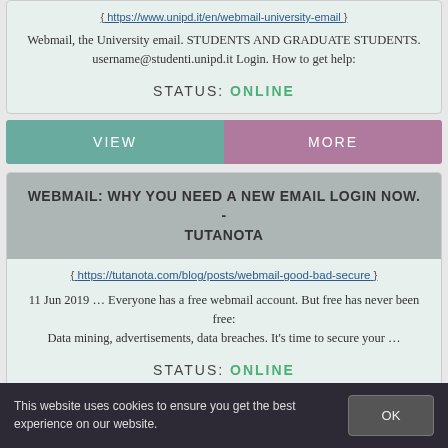{ https://www.unipd.it/en/webmail-university-email }
Webmail, the University email. STUDENTS AND GRADUATE STUDENTS. username@studenti.unipd.it Login. How to get help:
STATUS: ONLINE
VIEW
MORE
WEBMAIL: WHY YOU NEED A NEW EMAIL LOGIN NOW. - TUTANOTA
{ https://tutanota.com/blog/posts/webmail-good-bad-secure }
11 Jun 2019 … Everyone has a free webmail account. But free has never been free: Data mining, advertisements, data breaches. It's time to secure your …
STATUS: ONLINE
This website uses cookies to ensure you get the best experience on our website.